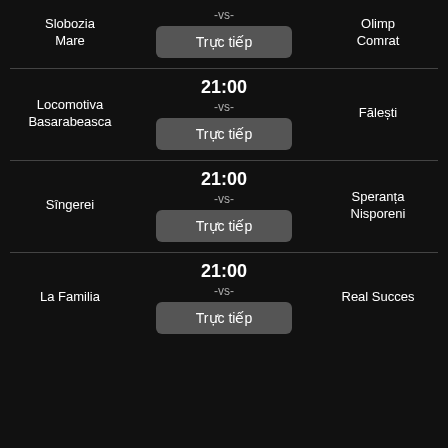Slobozia Mare vs Olimp Comrat - Truc tiếp
Locomotiva Basarabeasca 21:00 -vs- Fălești - Truc tiếp
Sîngerei 21:00 -vs- Speranța Nisporeni - Truc tiếp
La Familia 21:00 -vs- Real Succes - Truc tiếp